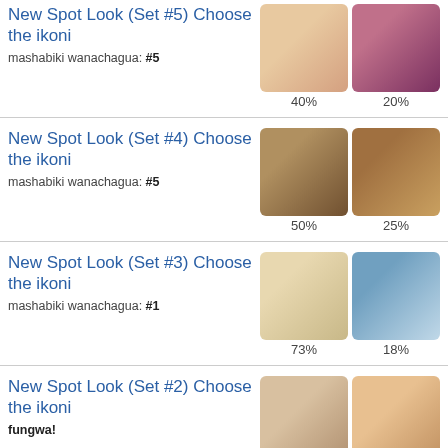New Spot Look (Set #5) Choose the ikoni
mashabiki wanachagua: #5
40% / 20%
New Spot Look (Set #4) Choose the ikoni
mashabiki wanachagua: #5
50% / 25%
New Spot Look (Set #3) Choose the ikoni
mashabiki wanachagua: #1
73% / 18%
New Spot Look (Set #2) Choose the ikoni
fungwa!
30% / 30%
New Spot Look (Set #1) Choose the ikoni
mashabiki wanachagua: #1
40% / 30%